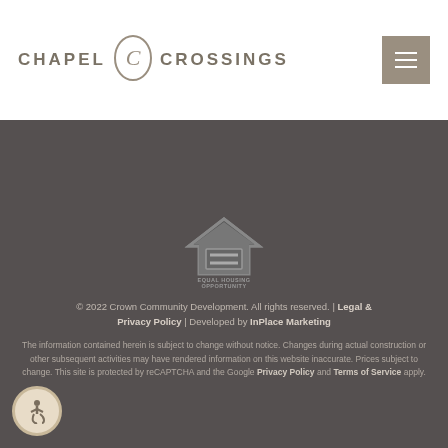[Figure (logo): Chapel Crossings logo with stylized CC emblem]
[Figure (other): Hamburger menu button (three horizontal lines) on tan/brown background]
[Figure (illustration): Equal Housing Opportunity logo — house outline with '=' sign and text 'EQUAL HOUSING OPPORTUNITY']
© 2022 Crown Community Development. All rights reserved. | Legal & Privacy Policy | Developed by InPlace Marketing
The information contained herein is subject to change without notice. Changes during actual construction or other subsequent activities may have rendered information on this website inaccurate. Prices subject to change. This site is protected by reCAPTCHA and the Google Privacy Policy and Terms of Service apply.
[Figure (illustration): Accessibility icon — person in wheelchair on circular beige/tan background]